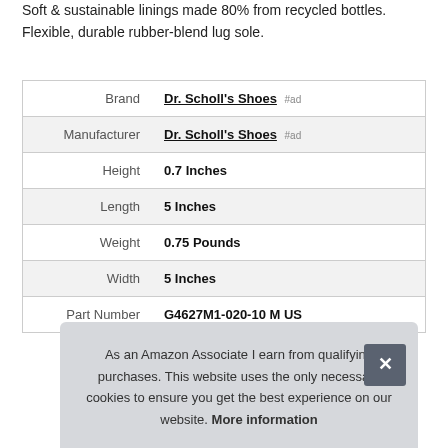Soft & sustainable linings made 80% from recycled bottles. Flexible, durable rubber-blend lug sole.
| Attribute | Value |
| --- | --- |
| Brand | Dr. Scholl's Shoes #ad |
| Manufacturer | Dr. Scholl's Shoes #ad |
| Height | 0.7 Inches |
| Length | 5 Inches |
| Weight | 0.75 Pounds |
| Width | 5 Inches |
| Part Number | G4627M1-020-10 M US |
As an Amazon Associate I earn from qualifying purchases. This website uses the only necessary cookies to ensure you get the best experience on our website. More information